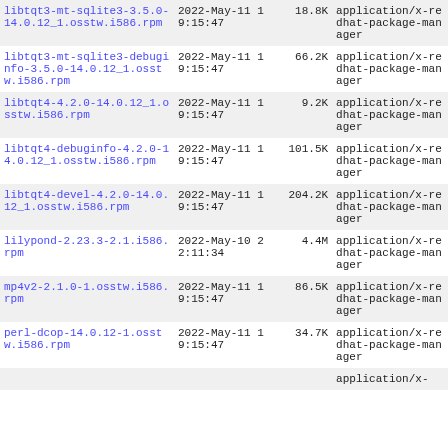| Name | Date | Size | Type |
| --- | --- | --- | --- |
| libtqt3-mt-sqlite3-3.5.0-14.0.12_1.osstw.i586.rpm | 2022-May-11 19:15:47 | 18.8K | application/x-redhat-package-manager |
| libtqt3-mt-sqlite3-debuginfo-3.5.0-14.0.12_1.osstw.i586.rpm | 2022-May-11 19:15:47 | 66.2K | application/x-redhat-package-manager |
| libtqt4-4.2.0-14.0.12_1.osstw.i586.rpm | 2022-May-11 19:15:47 | 9.2K | application/x-redhat-package-manager |
| libtqt4-debuginfo-4.2.0-14.0.12_1.osstw.i586.rpm | 2022-May-11 19:15:47 | 101.5K | application/x-redhat-package-manager |
| libtqt4-devel-4.2.0-14.0.12_1.osstw.i586.rpm | 2022-May-11 19:15:47 | 204.2K | application/x-redhat-package-manager |
| lilypond-2.23.3-2.1.i586.rpm | 2022-May-10 22:11:34 | 4.4M | application/x-redhat-package-manager |
| mp4v2-2.1.0-1.osstw.i586.rpm | 2022-May-11 19:15:47 | 86.5K | application/x-redhat-package-manager |
| perl-dcop-14.0.12-1.osstw.i586.rpm | 2022-May-11 19:15:47 | 34.7K | application/x-redhat-package-manager |